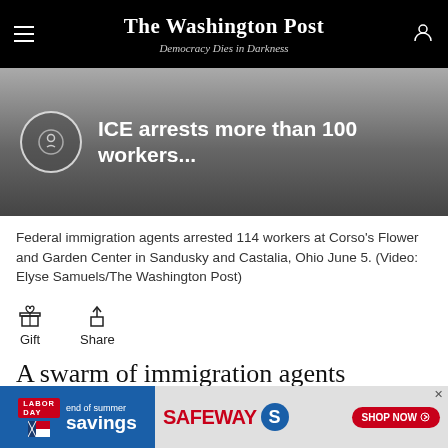The Washington Post — Democracy Dies in Darkness
[Figure (screenshot): Video thumbnail with play button icon and headline: ICE arrests more than 100 workers...]
Federal immigration agents arrested 114 workers at Corso's Flower and Garden Center in Sandusky and Castalia, Ohio June 5. (Video: Elyse Samuels/The Washington Post)
[Figure (infographic): Toolbar with Gift and Share icons]
A swarm of immigration agents arrested more than 100 workers at an Ohio gardening and landscaping
[Figure (screenshot): Safeway Labor Day end of summer savings advertisement banner]